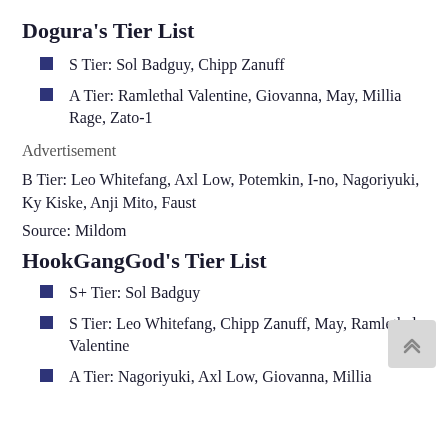Dogura's Tier List
S Tier: Sol Badguy, Chipp Zanuff
A Tier: Ramlethal Valentine, Giovanna, May, Millia Rage, Zato-1
Advertisement
B Tier: Leo Whitefang, Axl Low, Potemkin, I-no, Nagoriyuki, Ky Kiske, Anji Mito, Faust
Source: Mildom
HookGangGod's Tier List
S+ Tier: Sol Badguy
S Tier: Leo Whitefang, Chipp Zanuff, May, Ramlethal Valentine
A Tier: Nagoriyuki, Axl Low, Giovanna, Millia